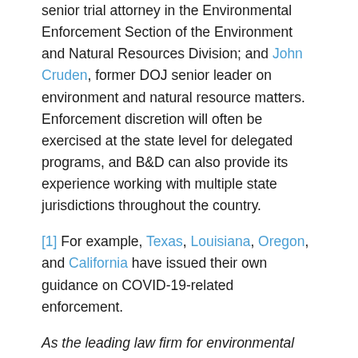senior trial attorney in the Environmental Enforcement Section of the Environment and Natural Resources Division; and John Cruden, former DOJ senior leader on environment and natural resource matters. Enforcement discretion will often be exercised at the state level for delegated programs, and B&D can also provide its experience working with multiple state jurisdictions throughout the country.
[1] For example, Texas, Louisiana, Oregon, and California have issued their own guidance on COVID-19-related enforcement.
As the leading law firm for environmental law and litigation, B&D has all to resource and